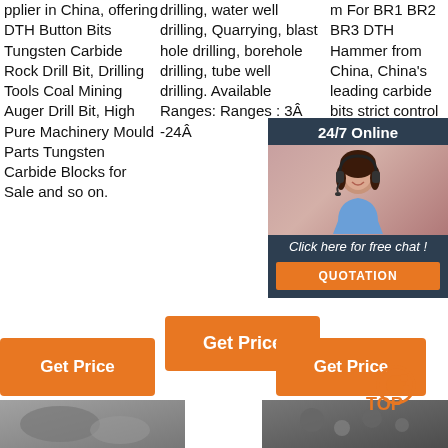pplier in China, offering DTH Button Bits Tungsten Carbide Rock Drill Bit, Drilling Tools Coal Mining Auger Drill Bit, High Pure Machinery Mould Parts Tungsten Carbide Blocks for Sale and so on.
drilling, water well drilling, Quarrying, blast hole drilling, borehole drilling, tube well drilling. Available Ranges: Ranges : 3Â -24Â
m For BR1 BR2 BR3 DTH Hammer from China, China's leading carbide bits strict control of its full producing dth hammers product
[Figure (other): Live chat widget with 24/7 Online header, photo of female customer service representative with headset, 'Click here for free chat!' text, and QUOTATION button]
[Figure (other): Get Price orange button (middle column)]
[Figure (other): Get Price orange button (bottom left)]
[Figure (other): Get Price orange button (bottom right) with TOP icon]
[Figure (photo): Bottom left product image]
[Figure (photo): Bottom right product image]